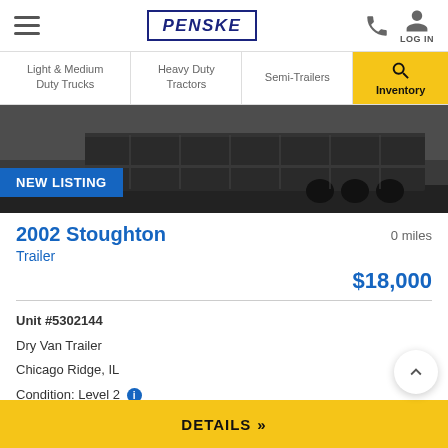PENSKE
Light & Medium Duty Trucks | Heavy Duty Tractors | Semi-Trailers | Inventory
[Figure (photo): Dark photograph of a semi-trailer, showing the rear/side of the trailer against a dark background, with a NEW LISTING badge in the lower left]
2002 Stoughton
Trailer
0 miles
$18,000
Unit #5302144
Dry Van Trailer
Chicago Ridge, IL
Condition: Level 2
DETAILS »